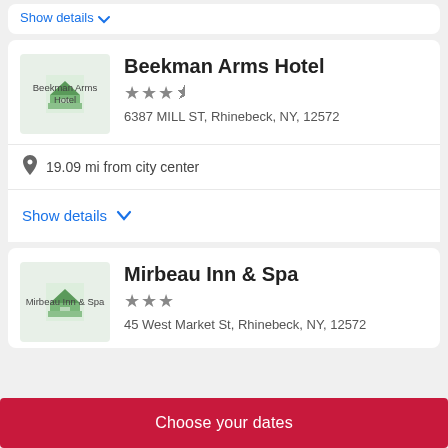Show details ▾
Beekman Arms Hotel
★★★½
6387 MILL ST, Rhinebeck, NY, 12572
19.09 mi from city center
Show details ∨
Mirbeau Inn & Spa
★★★
45 West Market St, Rhinebeck, NY, 12572
Choose your dates